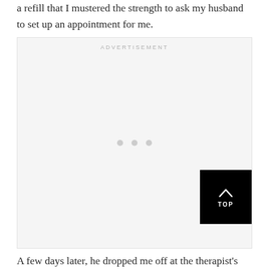a refill that I mustered the strength to ask my husband to set up an appointment for me.
[Figure (other): Advertisement placeholder box with light gray background, centered 'ADVERTISEMENT' label at top, three small gray dots in the center, and a black 'TOP' button with upward chevron arrow in the bottom-right corner.]
A few days later, he dropped me off at the therapist's